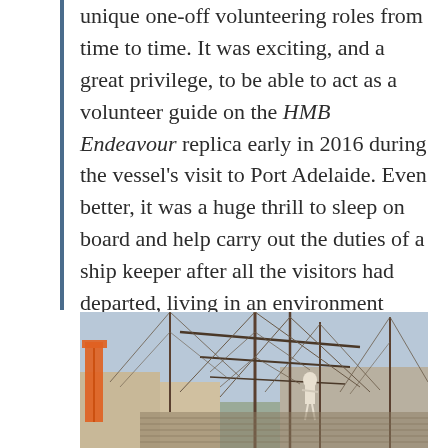unique one-off volunteering roles from time to time. It was exciting, and a great privilege, to be able to act as a volunteer guide on the HMB Endeavour replica early in 2016 during the vessel's visit to Port Adelaide. Even better, it was a huge thrill to sleep on board and help carry out the duties of a ship keeper after all the visitors had departed, living in an environment similar to Cook's sailors of a by-gone era.
[Figure (photo): Photograph of the HMB Endeavour replica ship showing rigging, masts and ropes with people on deck, taken at Port Adelaide.]